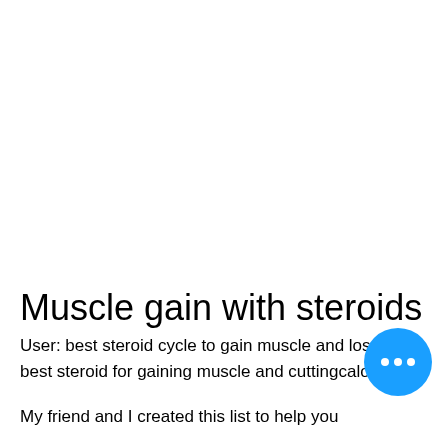Muscle gain with steroids
User: best steroid cycle to gain muscle and lose fat, best steroid for gaining muscle and cuttingcalories.
My friend and I created this list to help you
[Figure (other): Blue circular chat button with three white dots (ellipsis)]